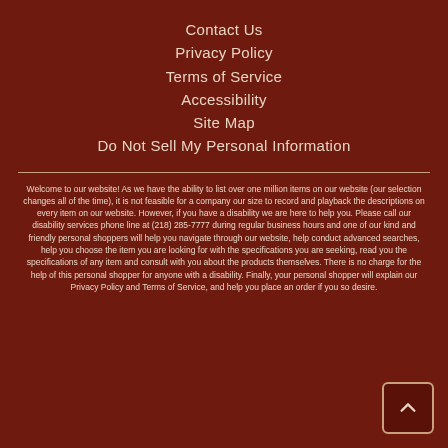Contact Us
Privacy Policy
Terms of Service
Accessibility
Site Map
Do Not Sell My Personal Information
Welcome to our website! As we have the ability to list over one million items on our website (our selection changes all of the time), it is not feasible for a company our size to record and playback the descriptions on every item on our website. However, if you have a disability we are here to help you. Please call our disability services phone line at (218) 285-7777 during regular business hours and one of our kind and friendly personal shoppers will help you navigate through our website, help conduct advanced searches, help you choose the item you are looking for with the specifications you are seeking, read you the specifications of any item and consult with you about the products themselves. There is no charge for the help of this personal shopper for anyone with a disability. Finally, your personal shopper will explain our Privacy Policy and Terms of Service, and help you place an order if you so desire.